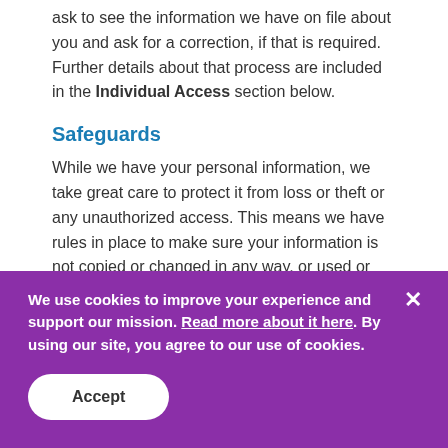ask to see the information we have on file about you and ask for a correction, if that is required. Further details about that process are included in the Individual Access section below.
Safeguards
While we have your personal information, we take great care to protect it from loss or theft or any unauthorized access. This means we have rules in place to make sure your information is not copied or changed in any way, or used or disclosed in a way that is not consistent with the consent you gave us.
Th...
We use cookies to improve your experience and support our mission. Read more about it here. By using our site, you agree to our use of cookies.